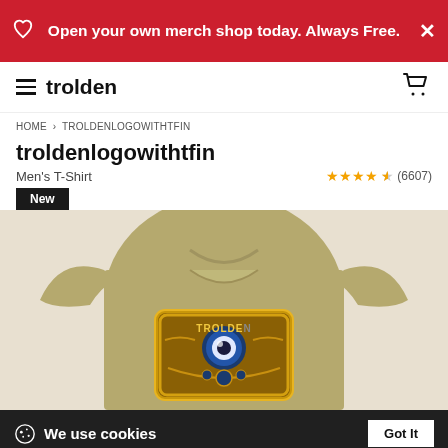Open your own merch shop today. Always Free.
trolden
HOME > TROLDENLOGOWITHTFIN
troldenlogowithtfin
Men's T-Shirt
★★★★½ (6607)
New
[Figure (photo): Olive/khaki colored men's t-shirt displaying a Trolden logo with fantasy game artwork featuring an eye motif in blue and gold tones]
We use cookies
Click here to see a list of the categories of personal information we collect and what we use them for ("Notice at Collection").
Privacy Policy
Do Not Sell My Personal Information
By using this website, I agree to the Terms and Conditions